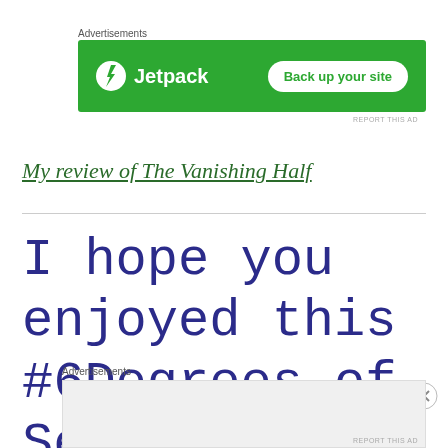Advertisements
[Figure (screenshot): Jetpack advertisement banner with green background, Jetpack logo and lightning bolt icon on left, white 'Back up your site' button on right]
REPORT THIS AD
My review of The Vanishing Half
I hope you enjoyed this #6Degrees of Separation chain from Beezus and
Advertisements
[Figure (screenshot): Empty advertisement banner placeholder with light gray background]
REPORT THIS AD